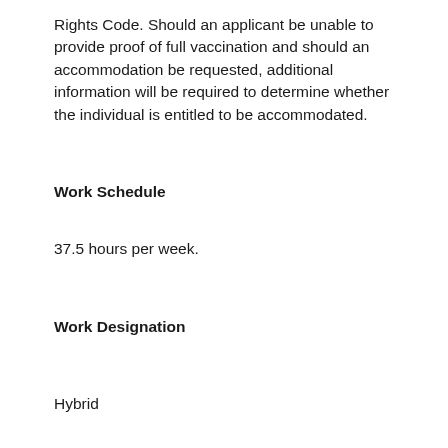Rights Code. Should an applicant be unable to provide proof of full vaccination and should an accommodation be requested, additional information will be required to determine whether the individual is entitled to be accommodated.
Work Schedule
37.5 hours per week.
Work Designation
Hybrid
This position offers the flexibility of working both on-site and remotely within B.C.